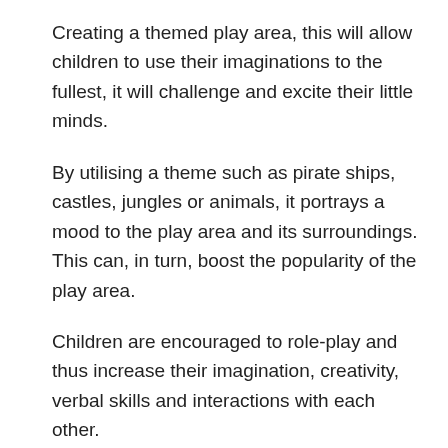Creating a themed play area, this will allow children to use their imaginations to the fullest, it will challenge and excite their little minds.
By utilising a theme such as pirate ships, castles, jungles or animals, it portrays a mood to the play area and its surroundings. This can, in turn, boost the popularity of the play area.
Children are encouraged to role-play and thus increase their imagination, creativity, verbal skills and interactions with each other.
Indoor Playground for Nambour Hospital – Paediatric Ward